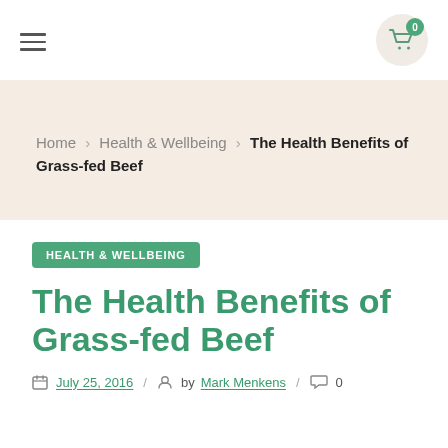≡ | 0
Home > Health & Wellbeing > The Health Benefits of Grass-fed Beef
HEALTH & WELLBEING
The Health Benefits of Grass-fed Beef
July 25, 2016 / by Mark Menkens / 0